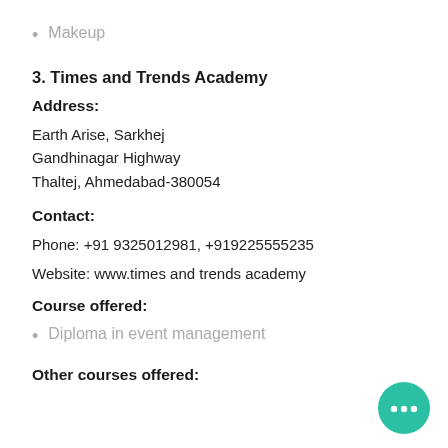Makeup
3. Times and Trends Academy
Address:
Earth Arise, Sarkhej
Gandhinagar Highway
Thaltej, Ahmedabad-380054
Contact:
Phone: +91 9325012981, +919225555235
Website: www.times and trends academy
Course offered:
Diploma in event management
Other courses offered: